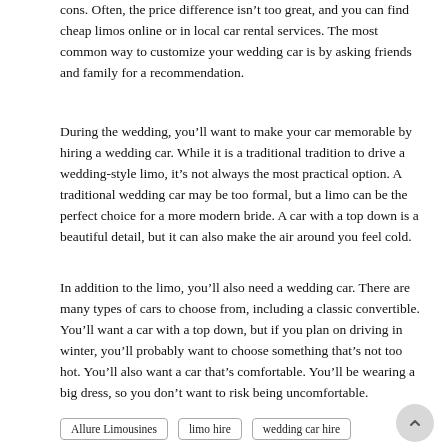cons. Often, the price difference isn’t too great, and you can find cheap limos online or in local car rental services. The most common way to customize your wedding car is by asking friends and family for a recommendation.
During the wedding, you’ll want to make your car memorable by hiring a wedding car. While it is a traditional tradition to drive a wedding-style limo, it’s not always the most practical option. A traditional wedding car may be too formal, but a limo can be the perfect choice for a more modern bride. A car with a top down is a beautiful detail, but it can also make the air around you feel cold.
In addition to the limo, you’ll also need a wedding car. There are many types of cars to choose from, including a classic convertible. You’ll want a car with a top down, but if you plan on driving in winter, you’ll probably want to choose something that’s not too hot. You’ll also want a car that’s comfortable. You’ll be wearing a big dress, so you don’t want to risk being uncomfortable.
Allure Limousines
limo hire
wedding car hire